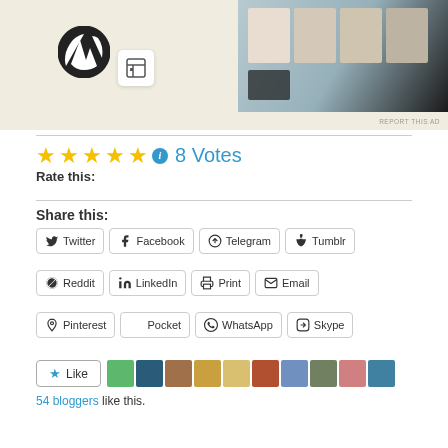[Figure (screenshot): Ad banner showing WordPress logo, a box/storage icon, and food/recipe images on the right side. 'REPORT THIS AD' text in bottom right.]
★★★★★ ⓘ 8 Votes
Rate this:
Share this:
Twitter
Facebook
Telegram
Tumblr
Reddit
LinkedIn
Print
Email
Pinterest
Pocket
WhatsApp
Skype
Like
54 bloggers like this.